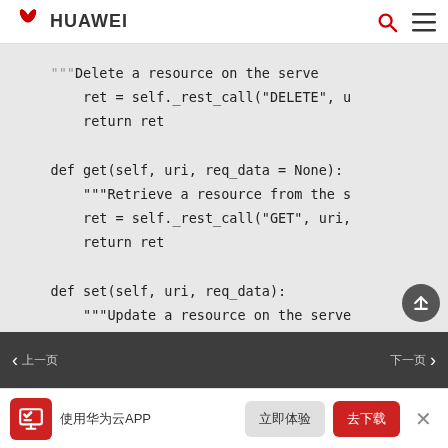HUAWEI
Code snippet showing Python REST API methods: delete (return ret), get(self, uri, req_data=None) with Retrieve a resource from the s..., set(self, uri, req_data) with Update a resource on the serve..., _rest_call(self, method, uri, req...) with REST call, if req_data == None: body = '', else:
上一页 | 下一页 | 使用华为云APP | 立即体验 | 去下载 | ×